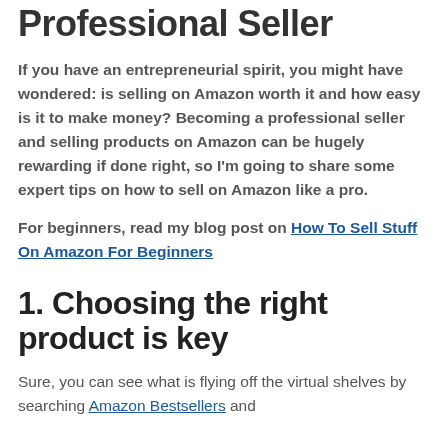Professional Seller
If you have an entrepreneurial spirit, you might have wondered: is selling on Amazon worth it and how easy is it to make money? Becoming a professional seller and selling products on Amazon can be hugely rewarding if done right, so I'm going to share some expert tips on how to sell on Amazon like a pro.
For beginners, read my blog post on How To Sell Stuff On Amazon For Beginners
1. Choosing the right product is key
Sure, you can see what is flying off the virtual shelves by searching Amazon Bestsellers and